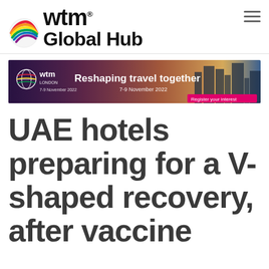wtm Global Hub
[Figure (photo): WTM London banner: 'Reshaping travel together, 7-9 November 2022, Register your interest' with city skyline sunset background]
UAE hotels preparing for a V-shaped recovery, after vaccine